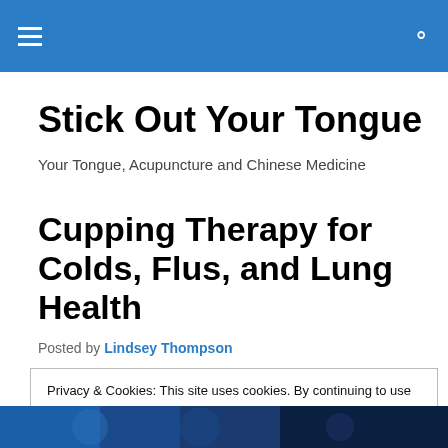Stick Out Your Tongue
Your Tongue, Acupuncture and Chinese Medicine
Cupping Therapy for Colds, Flus, and Lung Health
Posted by Lindsey Thompson
Privacy & Cookies: This site uses cookies. By continuing to use this website, you agree to their use.
To find out more, including how to control cookies, see here: Cookie Policy
[Figure (photo): Bottom photo strip showing a blue-toned image, likely medical or cupping therapy related]